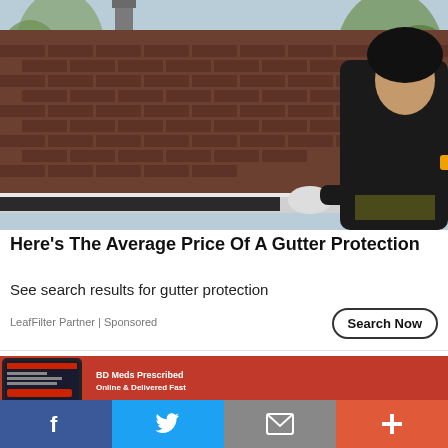[Figure (photo): Worker in black hoodie on roof installing or cleaning gutters, holding a yellow power tool, wearing work gloves, with residential neighborhood trees visible in background]
Here's The Average Price Of A Gutter Protection
See search results for gutter protection
LeafFilter Partner | Sponsored
[Figure (screenshot): Red banner advertisement showing a smartphone/mobile device displaying a website, partial text visible 'BD Meds Prescribed Online & Delivered Fast']
[Figure (infographic): Social sharing bar with four buttons: Facebook (blue), Twitter (light blue), Email (gray), and Plus/More (orange-red)]